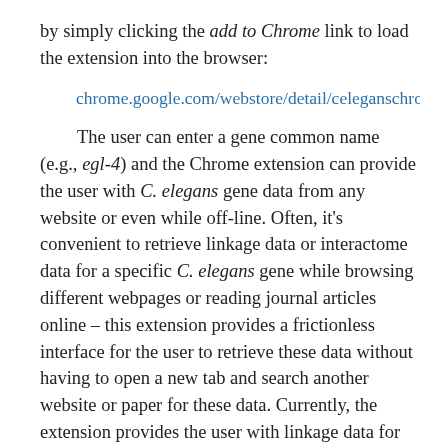by simply clicking the add to Chrome link to load the extension into the browser:
chrome.google.com/webstore/detail/celeganschrome/ipnlfcan
The user can enter a gene common name (e.g., egl-4) and the Chrome extension can provide the user with C. elegans gene data from any website or even while off-line. Often, it’s convenient to retrieve linkage data or interactome data for a specific C. elegans gene while browsing different webpages or reading journal articles online – this extension provides a frictionless interface for the user to retrieve these data without having to open a new tab and search another website or paper for these data. Currently, the extension provides the user with linkage data for C. elegans genes, gene interaction data, human othology data to a C. elegans gene, and also a gene overview using the WormBase (Harris et al., 2014) RESTful API (only this feature requires internet